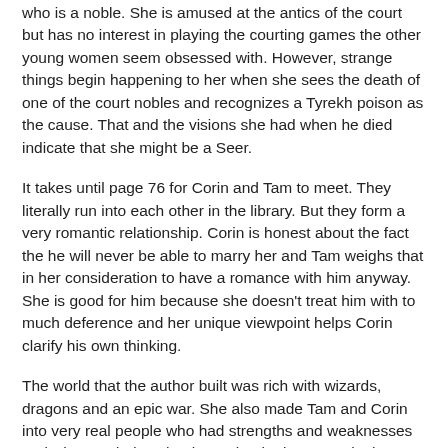who is a noble. She is amused at the antics of the court but has no interest in playing the courting games the other young women seem obsessed with. However, strange things begin happening to her when she sees the death of one of the court nobles and recognizes a Tyrekh poison as the cause. That and the visions she had when he died indicate that she might be a Seer.
It takes until page 76 for Corin and Tam to meet. They literally run into each other in the library. But they form a very romantic relationship. Corin is honest about the fact the he will never be able to marry her and Tam weighs that in her consideration to have a romance with him anyway. She is good for him because she doesn't treat him with to much deference and her unique viewpoint helps Corin clarify his own thinking.
The world that the author built was rich with wizards, dragons and an epic war. She also made Tam and Corin into very real people who had strengths and weaknesses and who needed each other to be the best people they could be.
Between rides on dragons, battle scenes and characters...